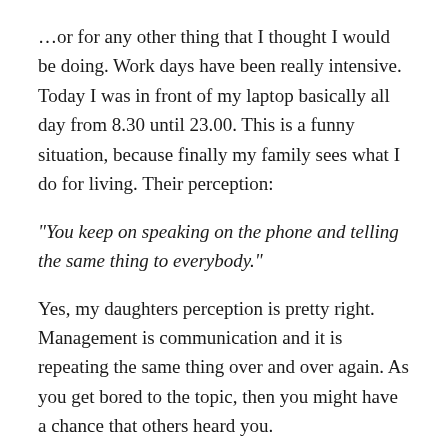…or for any other thing that I thought I would be doing. Work days have been really intensive. Today I was in front of my laptop basically all day from 8.30 until 23.00. This is a funny situation, because finally my family sees what I do for living. Their perception:
"You keep on speaking on the phone and telling the same thing to everybody."
Yes, my daughters perception is pretty right. Management is communication and it is repeating the same thing over and over again. As you get bored to the topic, then you might have a chance that others heard you.
Our work with my management team is true crisis management at the moment. Market around us changes everyday. Today we got a new law, borders will be closed,